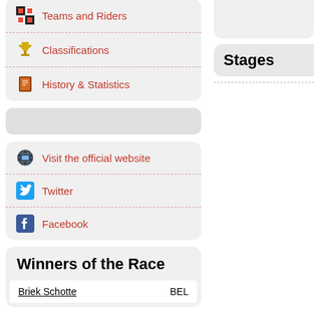Teams and Riders
Classifications
History & Statistics
Stages
Visit the official website
Twitter
Facebook
Winners of the Race
| Name | Country |
| --- | --- |
| Briek Schotte | BEL |
Tweets by @ParisTours
Editions